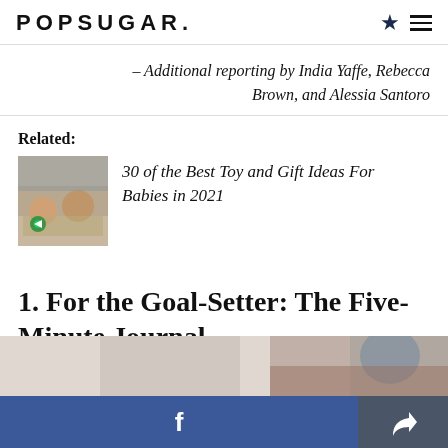POPSUGAR.
– Additional reporting by India Yaffe, Rebecca Brown, and Alessia Santoro
Related:
[Figure (photo): Thumbnail photo of two babies playing with toys on a floor]
30 of the Best Toy and Gift Ideas For Babies in 2021
1. For the Goal-Setter: The Five-Minute Journal
[Figure (photo): Partial bottom image strip showing a person, cropped]
f  (Facebook share button) | (Share icon button)